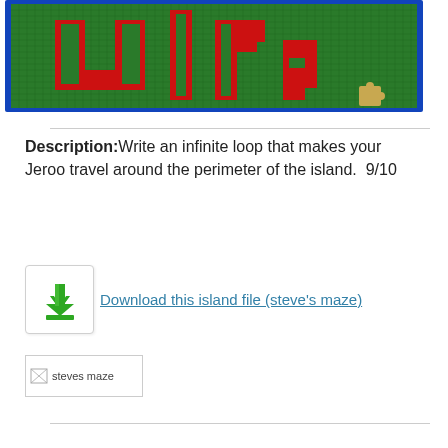[Figure (screenshot): Screenshot of a Jeroo island editor showing a grid with green cells and red pixel-art letters on a blue-bordered canvas. A small puzzle-piece icon is visible in the lower right of the grid.]
Description: Write an infinite loop that makes your Jeroo travel around the perimeter of the island.  9/10
[Figure (infographic): Download button icon: green downward arrow with a green base bar, inside a white rounded box with a light border.]
Download this island file (steve's maze)
[Figure (screenshot): Broken image placeholder labeled 'steves maze']